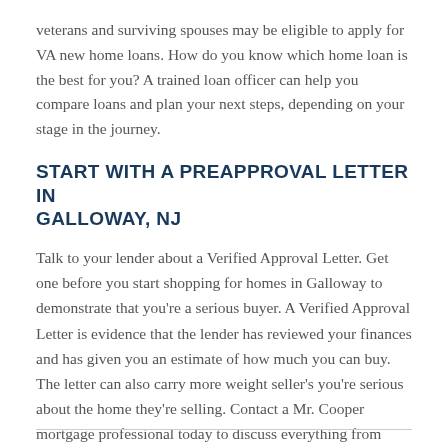veterans and surviving spouses may be eligible to apply for VA new home loans. How do you know which home loan is the best for you? A trained loan officer can help you compare loans and plan your next steps, depending on your stage in the journey.
START WITH A PREAPPROVAL LETTER IN GALLOWAY, NJ
Talk to your lender about a Verified Approval Letter. Get one before you start shopping for homes in Galloway to demonstrate that you're a serious buyer. A Verified Approval Letter is evidence that the lender has reviewed your finances and has given you an estimate of how much you can buy. The letter can also carry more weight seller's you're serious about the home they're selling. Contact a Mr. Cooper mortgage professional today to discuss everything from your potential loan options, credit score, and your Verified Approval letter. It could be the perfect season for you to buy a new house in Galloway. See how we can help you navigate your next home-buying experience!